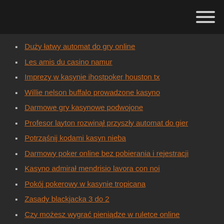Duży łatwy automat do gry online
Les amis du casino namur
Imprezy w kasynie ihostpoker houston tx
Willie nelson buffalo prowadzone kasyno
Darmowe gry kasynowe podwojone
Profesor layton rozwinął przyszły automat do gier
Potrząśnij kodami kasyn nieba
Darmowy poker online bez pobierania i rejestracji
Kasyno admirał mendrisio lavora con noi
Pokój pokerowy w kasynie tropicana
Zasady blackjacka 3 do 2
Czy możesz wygrać pieniądze w ruletce online
Pharmacie casino saint anne marseille
Kasyno del sol online